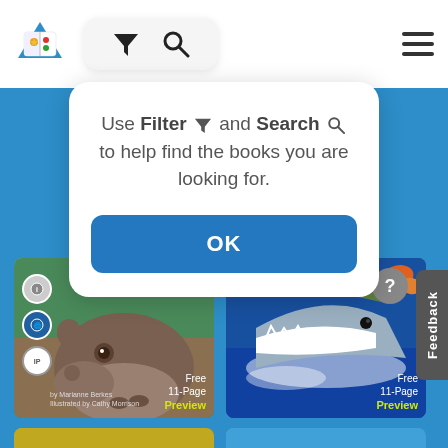[Figure (screenshot): App header bar with logo, filter and search icons in a rounded rectangle, and hamburger menu]
Use Filter and Search to help find the books you are looking for.
[Figure (screenshot): OK button in blue rounded rectangle]
[Figure (screenshot): Book covers grid showing hippo book and shark/creature book with Free 11-Page Preview labels, and bottom row of two more books]
[Figure (screenshot): Feedback tab and help question mark button on right side]